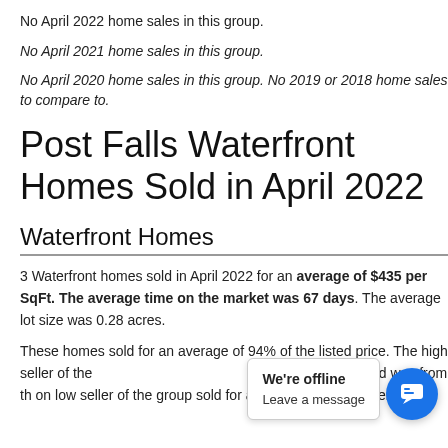No April 2022 home sales in this group.
No April 2021 home sales in this group.
No April 2020 home sales in this group. No 2019 or 2018 home sales to compare to.
Post Falls Waterfront Homes Sold in April 2022
Waterfront Homes
3 Waterfront homes sold in April 2022 for an average of $435 per SqFt. The average time on the market was 67 days. The average lot size was 0.28 acres.
These homes sold for an average of 94% of the listed price. The high seller of the group sold for an average of $7__ per SqFt. and was from th__ __ on__ low seller of the group sold for an average of $260 per SqFt.